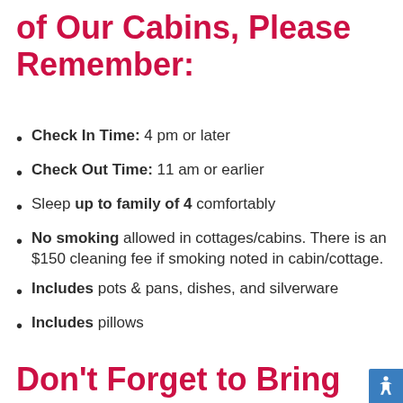of Our Cabins, Please Remember:
Check In Time:  4 pm or later
Check Out Time:  11 am or earlier
Sleep up to family of 4 comfortably
No smoking allowed in cottages/cabins. There is an $150 cleaning fee if smoking noted in cabin/cottage.
Includes pots & pans, dishes, and silverware
Includes pillows
Don't Forget to Bring